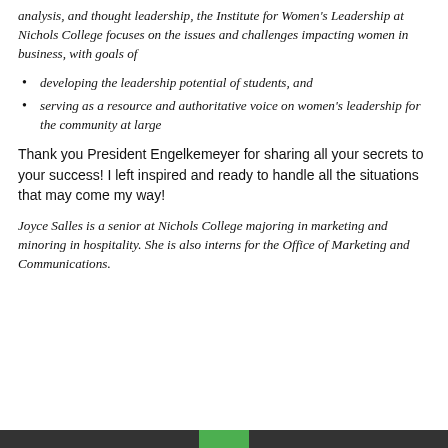analysis, and thought leadership, the Institute for Women's Leadership at Nichols College focuses on the issues and challenges impacting women in business, with goals of
developing the leadership potential of students, and
serving as a resource and authoritative voice on women's leadership for the community at large
Thank you President Engelkemeyer for sharing all your secrets to your success! I left inspired and ready to handle all the situations that may come my way!
Joyce Salles is a senior at Nichols College majoring in marketing and minoring in hospitality. She is also interns for the Office of Marketing and Communications.